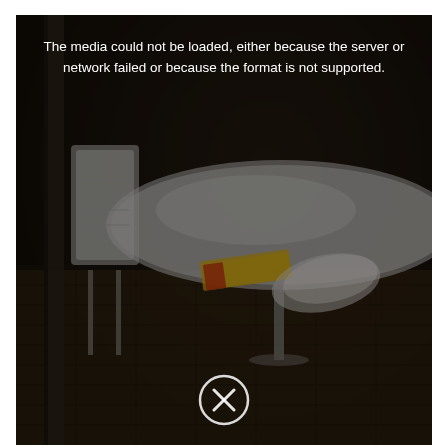[Figure (photo): A dark photograph showing an outdoor patio scene with a round white table, metal chairs, and some items (books/magazines) on the chairs. The image is overlaid with a browser media error message and an error icon (circle with X) at the bottom center. The image failed to load in the original context.]
The media could not be loaded, either because the server or network failed or because the format is not supported.